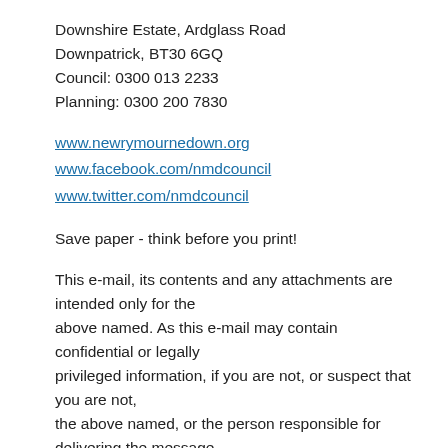Downshire Estate, Ardglass Road
Downpatrick, BT30 6GQ
Council: 0300 013 2233
Planning: 0300 200 7830
www.newrymournedown.org
www.facebook.com/nmdcouncil
www.twitter.com/nmdcouncil
Save paper - think before you print!
This e-mail, its contents and any attachments are intended only for the above named. As this e-mail may contain confidential or legally privileged information, if you are not, or suspect that you are not, the above named, or the person responsible for delivering the message to the above named, delete or destroy the email and